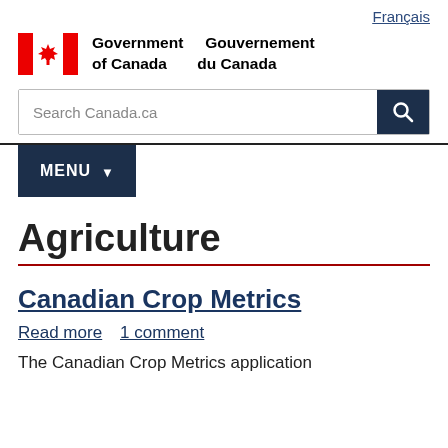Français
[Figure (logo): Government of Canada / Gouvernement du Canada logo with Canadian flag (red maple leaf)]
Search Canada.ca
MENU
Agriculture
Canadian Crop Metrics
Read more  1 comment
The Canadian Crop Metrics application